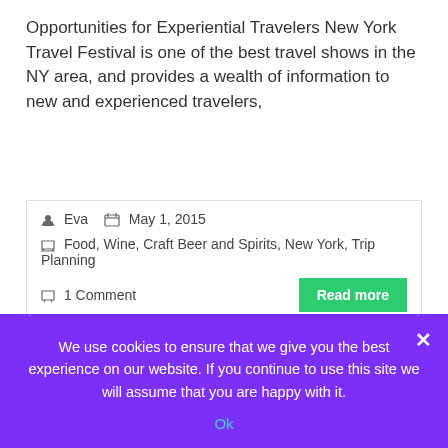Opportunities for Experiential Travelers New York Travel Festival is one of the best travel shows in the NY area, and provides a wealth of information to new and experienced travelers,
Eva  May 1, 2015  Food, Wine, Craft Beer and Spirits, New York, Trip Planning  1 Comment  Read more
NYC Tour Review: Walks of New York Lower East Side Stories
We use cookies to ensure that we give you the best experience on our website. If you continue to use this site we will assume that you are happy with it.  Ok  x